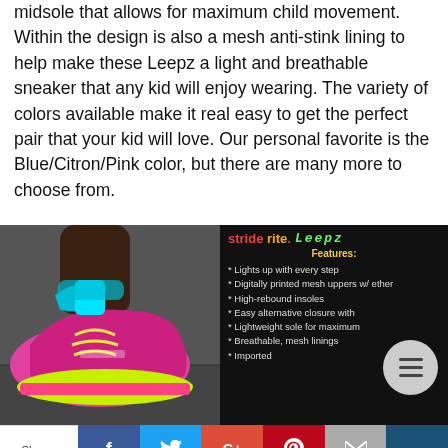midsole that allows for maximum child movement. Within the design is also a mesh anti-stink lining to help make these Leepz a light and breathable sneaker that any kid will enjoy wearing. The variety of colors available make it real easy to get the perfect pair that your kid will love. Our personal favorite is the Blue/Citron/Pink color, but there are many more to choose from.
[Figure (photo): Left half: photo of a child's colorful sneaker (pink, teal, yellow) on pavement. Right half: dark panel showing Stride Rite Leepz branding and product features list including: Lights up with every step, Digitally printed mesh uppers w/ leather, High-rebound insoles, Easy alternative closure with, Lightweight sole for maximum, Breathable mesh linings, Imported. A circular menu button overlays the right side.]
Shares | Facebook | Twitter | Google+ | Pinterest | Email | Crown